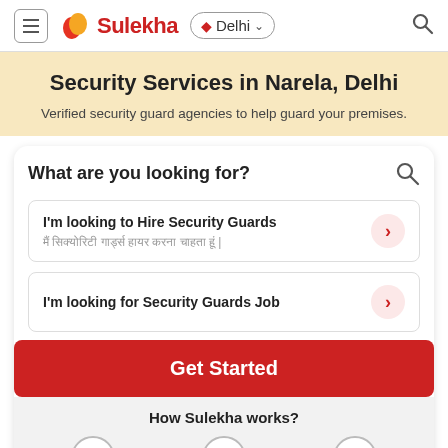Sulekha — Delhi
Security Services in Narela, Delhi
Verified security guard agencies to help guard your premises.
What are you looking for?
I'm looking to Hire Security Guards
I'm looking for Security Guards Job
Get Started
How Sulekha works?